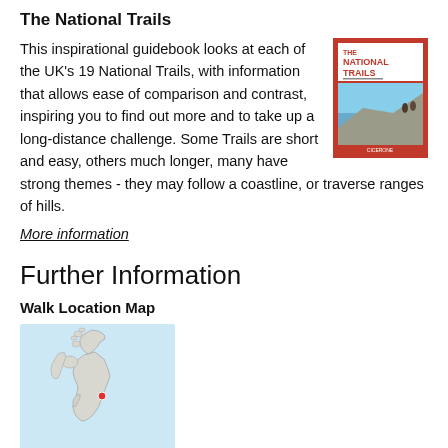The National Trails
This inspirational guidebook looks at each of the UK's 19 National Trails, with information that allows ease of comparison and contrast, inspiring you to find out more and to take up a long-distance challenge. Some Trails are short and easy, others much longer, many have strong themes - they may follow a coastline, or traverse ranges of hills.
[Figure (photo): Cover of 'The National Trails' guidebook published by Cicerone, showing walkers on a rocky coastal path.]
More information
Further Information
Walk Location Map
[Figure (map): Map of the United Kingdom with a red dot marking a location in central England (East Midlands area).]